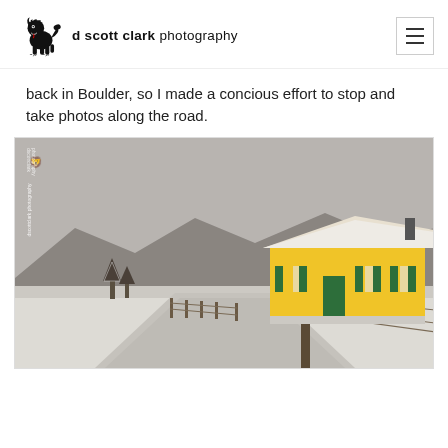d scott clark photography
back in Boulder, so I made a concious effort to stop and take photos along the road.
[Figure (photo): Winter landscape photograph showing a snow-covered gravel road leading to a bright yellow house/building with green shutters and a snow-covered roof. Mountains visible in background through overcast grey sky. A wooden fence runs alongside the road. Photo has a watermark 'dscottclark photography' in vertical text on the left side.]